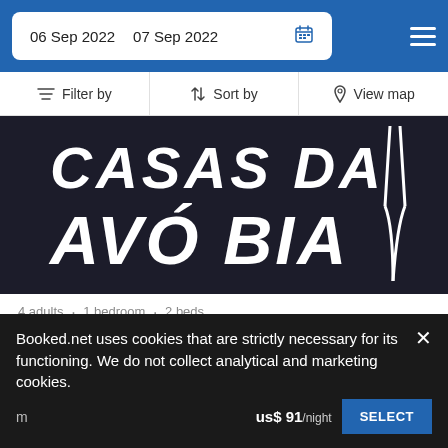06 Sep 2022  07 Sep 2022
Filter by  Sort by  View map
[Figure (photo): Dark background with white handwritten text reading CASAS DA AVÓ BIA with a stylized fork/utensil illustration on the right]
4 adults • 1 bedroom • 2 beds
300 yd from City Center
300 yd from Lagos Live Science Center
The property boasts views of the city along with a kitchenette
Booked.net uses cookies that are strictly necessary for its functioning. We do not collect analytical and marketing cookies.
us$ 91/night
SELECT